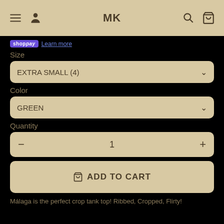MK
shop pay  Learn more
Size
EXTRA SMALL (4)
Color
GREEN
Quantity
1
ADD TO CART
Málaga is the perfect crop tank top! Ribbed, Cropped, Flirty!